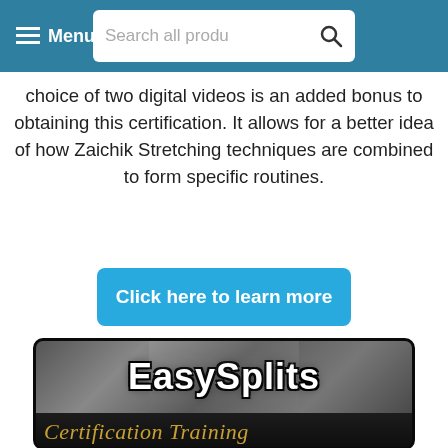Menu | Search all produ
choice of two digital videos is an added bonus to obtaining this certification. It allows for a better idea of how Zaichik Stretching techniques are combined to form specific routines.
Click here to learn more
[Figure (photo): EasySplits Certification Training product banner image showing logo text on dark metallic background with 'Certification Training' subtitle in gold italic text, and partial view of a person below]